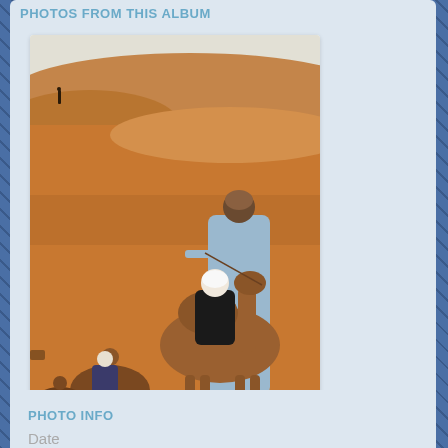PHOTOS FROM THIS ALBUM
[Figure (photo): Photo of a camel caravan in the Moroccan desert. A person in black clothing and white head covering rides a camel led by a guide in a light blue robe. Other camels with riders follow behind on the orange sandy dunes.]
Images of Morocco
96 photos by traveler
PHOTO INFO
Date